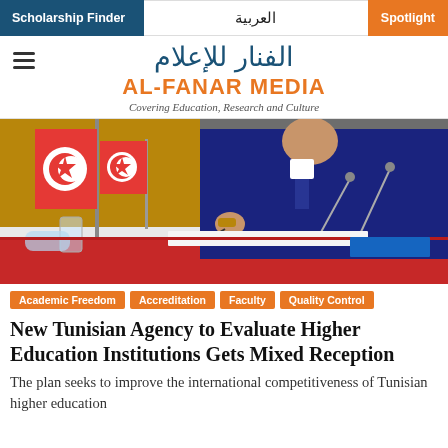Scholarship Finder | العربية | Spotlight
الفنار للإعلام
AL-FANAR MEDIA
Covering Education, Research and Culture
[Figure (photo): A man in a dark suit signing a document at a table with Tunisian flags in the background.]
Academic Freedom
Accreditation
Faculty
Quality Control
New Tunisian Agency to Evaluate Higher Education Institutions Gets Mixed Reception
The plan seeks to improve the international competitiveness of Tunisian higher education